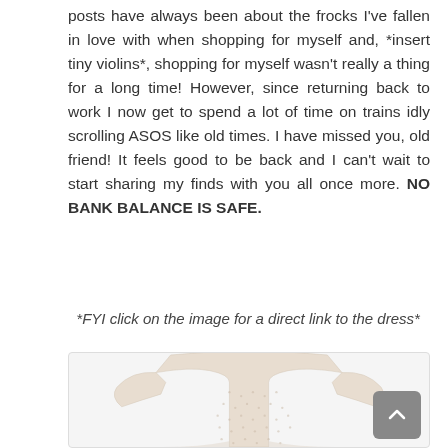posts have always been about the frocks I've fallen in love with when shopping for myself and, *insert tiny violins*, shopping for myself wasn't really a thing for a long time! However, since returning back to work I now get to spend a lot of time on trains idly scrolling ASOS like old times. I have missed you, old friend! It feels good to be back and I can't wait to start sharing my finds with you all once more. NO BANK BALANCE IS SAFE.
*FYI click on the image for a direct link to the dress*
[Figure (photo): A cream/beige textured short-sleeve dress (top portion visible), shown from the waist up against a white background]